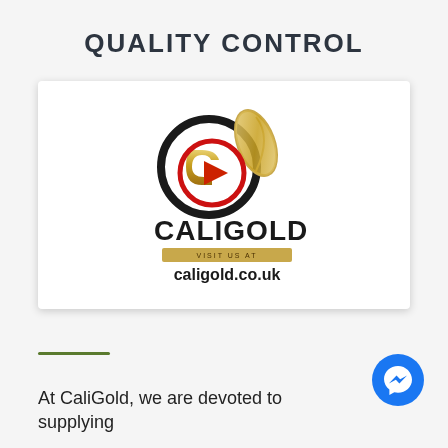QUALITY CONTROL
[Figure (screenshot): CaliGold video thumbnail showing the CaliGold logo (black circle with gold G letter and gold leaf) with a red play button circle overlay, company name CALIGOLD in bold black text, and website caligold.co.uk below a gold banner reading VISIT US AT]
At CaliGold, we are devoted to supplying